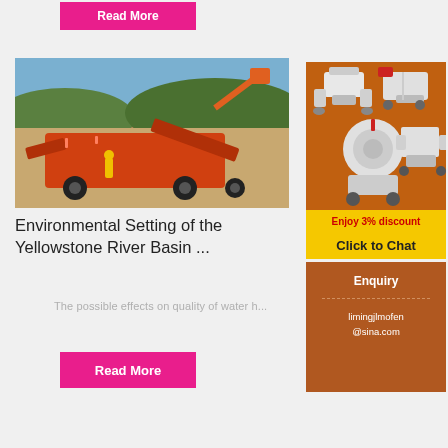Read More
[Figure (photo): Orange heavy mining/crushing equipment with excavator in background, sandy quarry site]
Environmental Setting of the Yellowstone River Basin ...
The possible effects on quality of water h...
Read More
[Figure (illustration): Advertisement banner with orange background showing various crushing/mining machines. Text: Enjoy 3% discount, Click to Chat]
Enquiry
limingjlmofen@sina.com